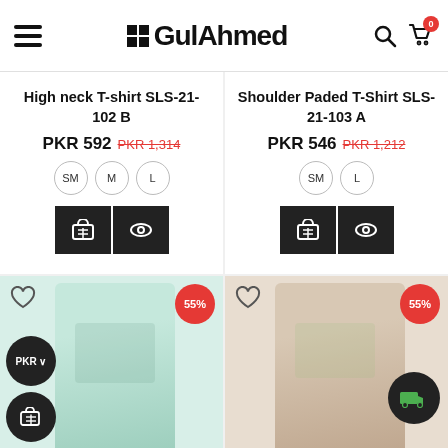Gul Ahmed
High neck T-shirt SLS-21-102 B
PKR 592 PKR 1,314
Sizes: SM, M, L
Shoulder Paded T-Shirt SLS-21-103 A
PKR 546 PKR 1,212
Sizes: SM, L
[Figure (photo): Woman wearing light blue t-shirt with graphic print, shown from waist up, 55% discount badge, PKR pill and cart button overlaid]
[Figure (photo): Woman wearing beige t-shirt with floral print, shown from waist up, 55% discount badge, green truck delivery icon overlaid]